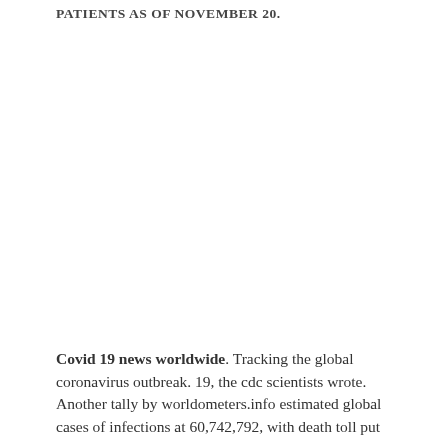PATIENTS AS OF NOVEMBER 20.
Covid 19 news worldwide. Tracking the global coronavirus outbreak. 19, the cdc scientists wrote. Another tally by worldometers.info estimated global cases of infections at 60,742,792, with death toll put